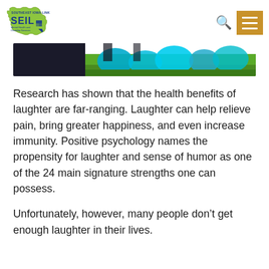[Figure (logo): Southeast Iowa Link SEIL Mental Health and Disability Services logo - green Iowa state shape with blue SEIL text]
[Figure (photo): Partial photo showing people lying on grass with teal/turquoise colored items, outdoor scene]
Research has shown that the health benefits of laughter are far-ranging. Laughter can help relieve pain, bring greater happiness, and even increase immunity. Positive psychology names the propensity for laughter and sense of humor as one of the 24 main signature strengths one can possess.
Unfortunately, however, many people don’t get enough laughter in their lives.